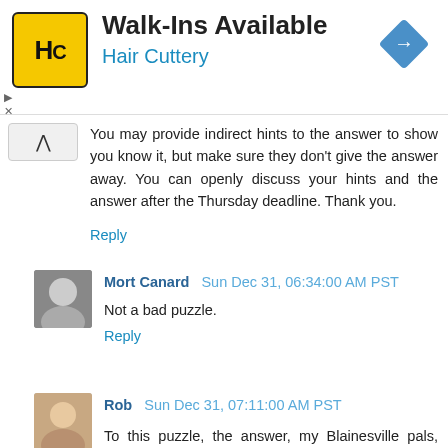[Figure (infographic): Hair Cuttery advertisement banner with yellow HC logo, 'Walk-Ins Available' headline, 'Hair Cuttery' subline in blue, and a blue diamond direction icon on the right.]
You may provide indirect hints to the answer to show you know it, but make sure they don't give the answer away. You can openly discuss your hints and the answer after the Thursday deadline. Thank you.
Reply
Mort Canard Sun Dec 31, 06:34:00 AM PST
Not a bad puzzle.
Reply
Rob Sun Dec 31, 07:11:00 AM PST
To this puzzle, the answer, my Blainesville pals, might be found by consulting the Weather Channel.